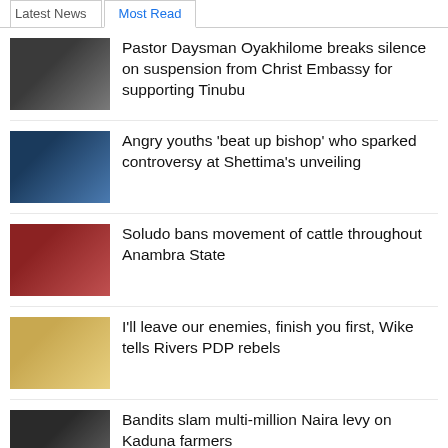Latest News | Most Read
Pastor Daysman Oyakhilome breaks silence on suspension from Christ Embassy for supporting Tinubu
Angry youths 'beat up bishop' who sparked controversy at Shettima's unveiling
Soludo bans movement of cattle throughout Anambra State
I'll leave our enemies, finish you first, Wike tells Rivers PDP rebels
Bandits slam multi-million Naira levy on Kaduna farmers
Man, 49 arrested for turning teenage daughter to 'prostitute', impregnate her